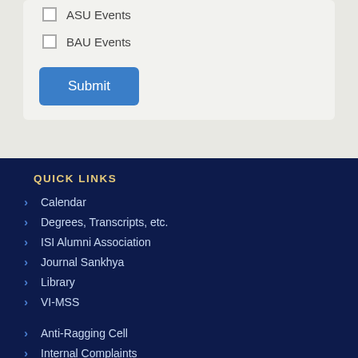ASU Events
BAU Events
QUICK LINKS
Calendar
Degrees, Transcripts, etc.
ISI Alumni Association
Journal Sankhya
Library
VI-MSS
Anti-Ragging Cell
Internal Complaints